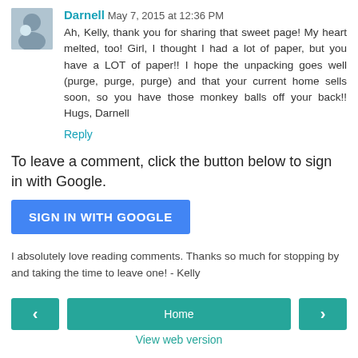[Figure (photo): Small avatar photo of a person with a dog]
Darnell May 7, 2015 at 12:36 PM
Ah, Kelly, thank you for sharing that sweet page! My heart melted, too! Girl, I thought I had a lot of paper, but you have a LOT of paper!! I hope the unpacking goes well (purge, purge, purge) and that your current home sells soon, so you have those monkey balls off your back!! Hugs, Darnell
Reply
To leave a comment, click the button below to sign in with Google.
SIGN IN WITH GOOGLE
I absolutely love reading comments. Thanks so much for stopping by and taking the time to leave one! - Kelly
< Home > View web version